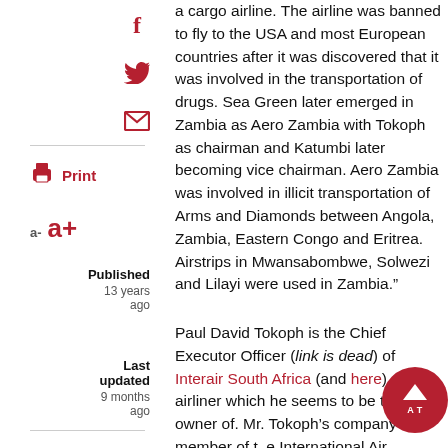a cargo airline. The airline was banned to fly to the USA and most European countries after it was discovered that it was involved in the transportation of drugs. Sea Green later emerged in Zambia as Aero Zambia with Tokoph as chairman and Katumbi later becoming vice chairman. Aero Zambia was involved in illicit transportation of Arms and Diamonds between Angola, Zambia, Eastern Congo and Eritrea. Airstrips in Mwansabombwe, Solwezi and Lilayi were used in Zambia.”
Paul David Tokoph is the Chief Executor Officer (link is dead) of Interair South Africa (and here) an airliner which he seems to be the owner of. Mr. Tokoph’s company is a member of the International Air Transport Association (IATA), and Mr. Tokoph himself is a member of The Corporate Council on Africa (CCA) (link to CCA is